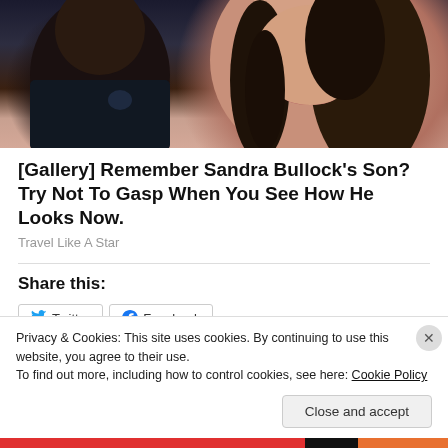[Figure (photo): Close-up photo of a young Black boy and a woman with long dark hair, both partially visible, dark clothing]
[Gallery] Remember Sandra Bullock's Son? Try Not To Gasp When You See How He Looks Now.
Travel Like A Star
Share this:
Twitter
Facebook
Privacy & Cookies: This site uses cookies. By continuing to use this website, you agree to their use.
To find out more, including how to control cookies, see here: Cookie Policy
Close and accept